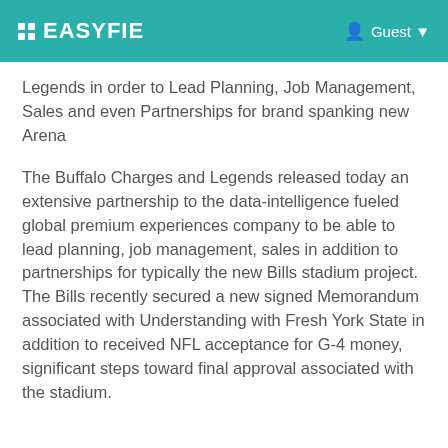EASYFIE   Guest
Legends in order to Lead Planning, Job Management, Sales and even Partnerships for brand spanking new Arena
The Buffalo Charges and Legends released today an extensive partnership to the data-intelligence fueled global premium experiences company to be able to lead planning, job management, sales in addition to partnerships for typically the new Bills stadium project. The Bills recently secured a new signed Memorandum associated with Understanding with Fresh York State in addition to received NFL acceptance for G-4 money, significant steps toward final approval associated with the stadium.